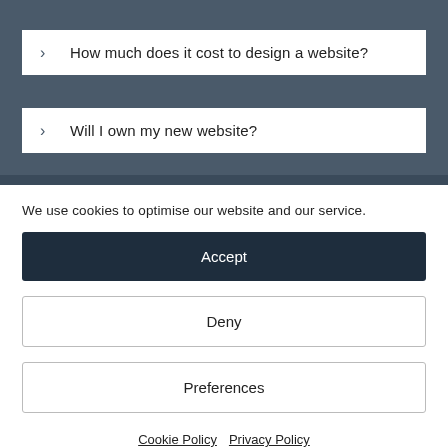How much does it cost to design a website?
Will I own my new website?
We use cookies to optimise our website and our service.
Accept
Deny
Preferences
Cookie Policy  Privacy Policy